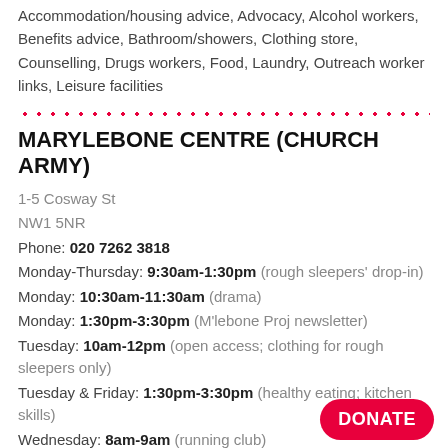Accommodation/housing advice, Advocacy, Alcohol workers, Benefits advice, Bathroom/showers, Clothing store, Counselling, Drugs workers, Food, Laundry, Outreach worker links, Leisure facilities
MARYLEBONE CENTRE (CHURCH ARMY)
1-5 Cosway St
NW1 5NR
Phone: 020 7262 3818
Monday-Thursday: 9:30am-1:30pm (rough sleepers' drop-in)
Monday: 10:30am-11:30am (drama)
Monday: 1:30pm-3:30pm (M'lebone Proj newsletter)
Tuesday: 10am-12pm (open access; clothing for rough sleepers only)
Tuesday & Friday: 1:30pm-3:30pm (healthy eating; kitchen skills)
Wednesday: 8am-9am (running club)